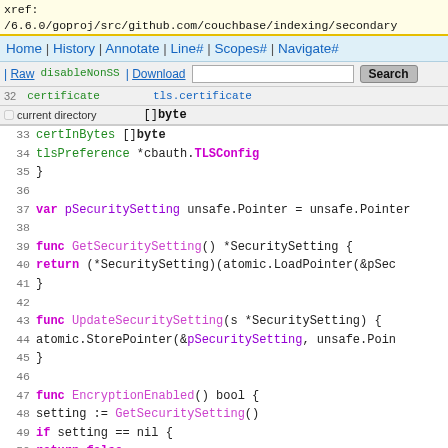xref:
/6.6.0/goproj/src/github.com/couchbase/indexing/secondary
[Figure (screenshot): Source code viewer navigation bar with Home | History | Annotate | Line# | Scopes# | Navigate# links and Raw | Download | Search toolbar with checkbox for current directory]
Go source code lines 32-55 showing SecuritySetting struct fields and functions: GetSecuritySetting, UpdateSecuritySetting, EncryptionEnabled, DisableNonSSLPort